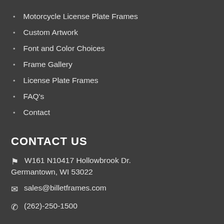Motorcycle License Plate Frames
Custom Artwork
Font and Color Choices
Frame Gallery
License Plate Frames
FAQ's
Contact
CONTACT US
W161 N10417 Hollowbrook Dr. Germantown, WI 53022
sales@billetframes.com
(262)-250-1500